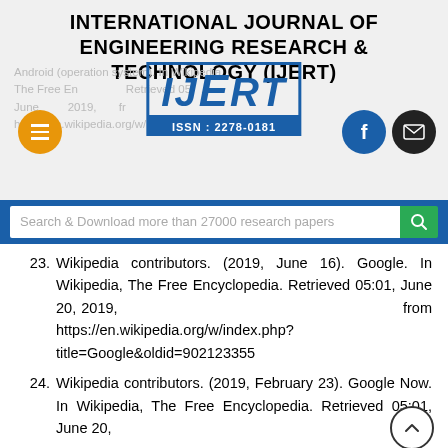INTERNATIONAL JOURNAL OF ENGINEERING RESEARCH & TECHNOLOGY (IJERT)
[Figure (logo): IJERT logo with blue border and ISSN: 2278-0181 bar]
23. Wikipedia contributors. (2019, June 16). Google. In Wikipedia, The Free Encyclopedia. Retrieved 05:01, June 20, 2019, from https://en.wikipedia.org/w/index.php?title=Google&oldid=902123355
24. Wikipedia contributors. (2019, February 23). Google Now. In Wikipedia, The Free Encyclopedia. Retrieved 05:01, June 20,